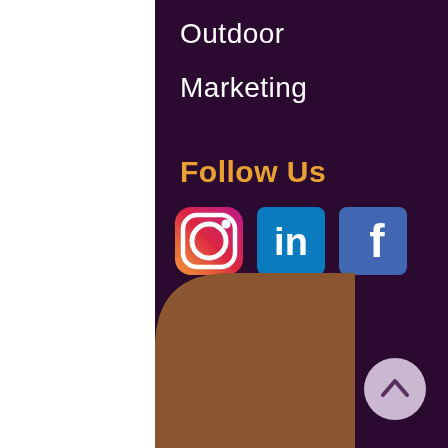Outdoor
Marketing
Follow Us
[Figure (logo): Social media icons: Instagram, LinkedIn, Facebook]
[Figure (illustration): Brown rounded quadrant shape in the bottom-left area]
[Figure (illustration): Light purple circular up-arrow button in the bottom-right]